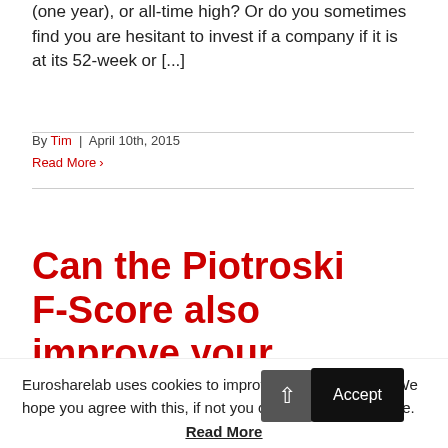(one year), or all-time high? Or do you sometimes find you are hesitant to invest if a company if it is at its 52-week or [...]
By Tim | April 10th, 2015
Read More ›
Can the Piotroski F-Score also improve your investment
Eurosharelab uses cookies to improve your experience. We hope you agree with this, if not you can opt-out at any time.
Read More